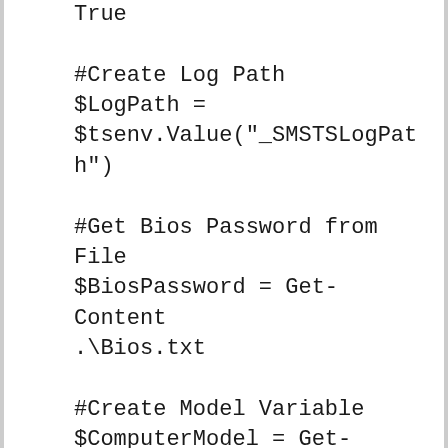True

#Create Log Path
$LogPath =
$tsenv.Value("_SMSTSLogPath")

#Get Bios Password from File
$BiosPassword = Get-Content
.\Bios.txt

#Create Model Variable
$ComputerModel = Get-WmiObject -Class Win32_computersystem | Select-Object -ExpandProperty Model

#Test path
$PathExist = Test-Path
.\$ComputerModel